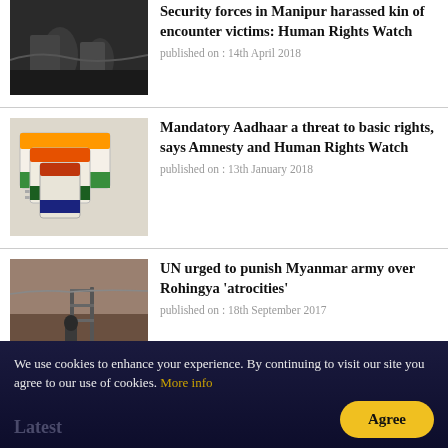[Figure (photo): Military/security forces personnel walking on a path, dark outdoor setting]
Security forces in Manipur harassed kin of encounter victims: Human Rights Watch
published on : 14th April 2018
[Figure (photo): Aadhaar cards spread out on a surface, showing Indian identity documents with orange and green stripes]
Mandatory Aadhaar a threat to basic rights, says Amnesty and Human Rights Watch
published on : 13th January 2018
[Figure (photo): A person standing near a fence/gate structure, outdoor scene]
UN urged to punish Myanmar army over Rohingya 'atrocities'
published on : 18th September 2017
We use cookies to enhance your experience. By continuing to visit our site you agree to our use of cookies. More info
Latest
Agree